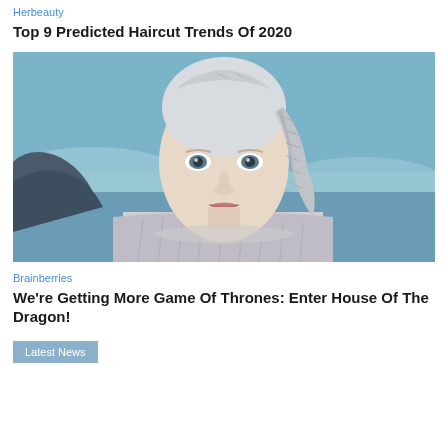Herbeauty
Top 9 Predicted Haircut Trends Of 2020
[Figure (photo): Close-up photo of a young woman with platinum/silver braided updo hair, wearing a striped fur-collar coat, with a blurred blue-grey wintry background — a still from Game of Thrones (Daenerys Targaryen character).]
Brainberries
We're Getting More Game Of Thrones: Enter House Of The Dragon!
Latest News